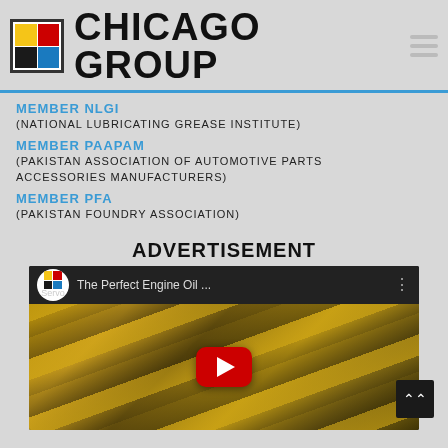CHICAGO GROUP
MEMBER NLGI
(NATIONAL LUBRICATING GREASE INSTITUTE)
MEMBER PAAPAM
(PAKISTAN ASSOCIATION OF AUTOMOTIVE PARTS ACCESSORIES MANUFACTURERS)
MEMBER PFA
(PAKISTAN FOUNDRY ASSOCIATION)
ADVERTISEMENT
[Figure (screenshot): YouTube video thumbnail showing 'The Perfect Engine Oil ...' with Servo logo, engine parts background in gold/black tones, and red YouTube play button]